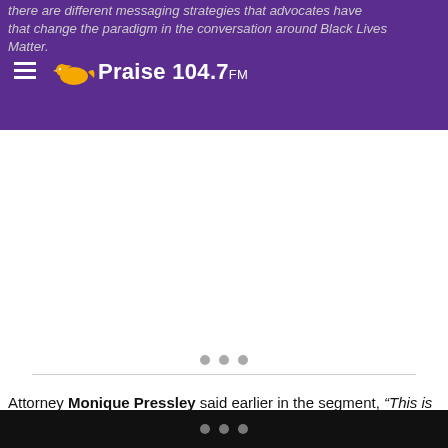there are different messaging strategies that advocates have that change the paradigm in the conversation around Black Lives Matter. Praise 104.7FM
[Figure (logo): Praise 104.7 FM logo with bird icon on purple background]
[Figure (other): Advertisement or media placeholder with three gray dots and horizontal divider line]
Attorney Monique Pressley said earlier in the segment, “This is